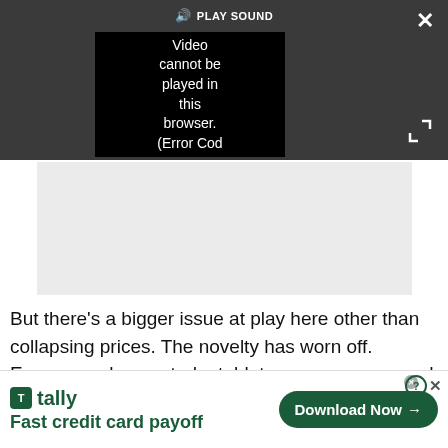[Figure (screenshot): Video player bar with dark grey background, sound/mute icon labeled PLAY SOUND, a black video area showing error text 'Video cannot be played in this browser. (Error Cod', a white X close button top-right, and expand arrows bottom-right]
Video cannot be played in this browser. (Error Cod
[Figure (screenshot): Grey rectangular advertisement placeholder area]
But there's a bigger issue at play here other than collapsing prices. The novelty has worn off. Everyone who wanted a tablet now owns one, and there just
[Figure (infographic): Tally advertisement banner: Tally logo with green icon and text 'Fast credit card payoff', green Download Now button with arrow, close icons top-right]